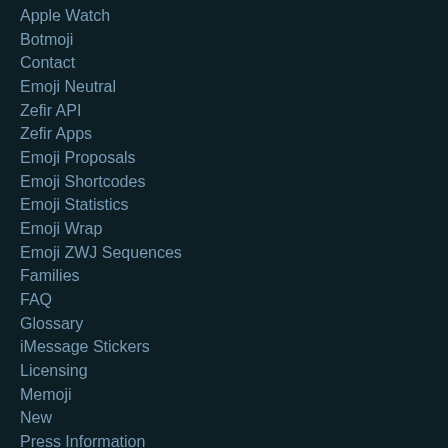Apple Watch
Botmoji
Contact
Emoji Neutral
Zefir API
Zefir Apps
Emoji Proposals
Emoji Shortcodes
Emoji Statistics
Emoji Wrap
Emoji ZWJ Sequences
Families
FAQ
Glossary
iMessage Stickers
Licensing
Memoji
New
Press Information
Privacy Policy
Subdivision Flags
Tips
Modifiers